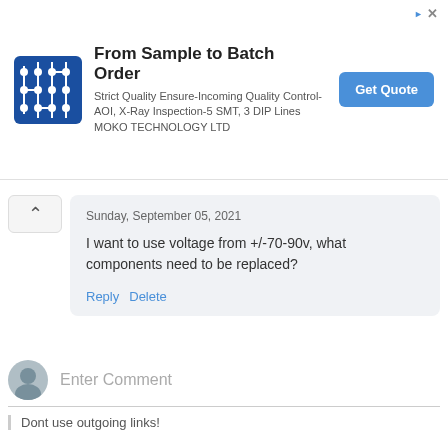[Figure (infographic): Advertisement banner for MOKO TECHNOLOGY LTD showing circuit board logo, headline 'From Sample to Batch Order', description text, and blue 'Get Quote' button]
Sunday, September 05, 2021
I want to use voltage from +/-70-90v, what components need to be replaced?
Reply  Delete
Enter Comment
Dont use outgoing links!